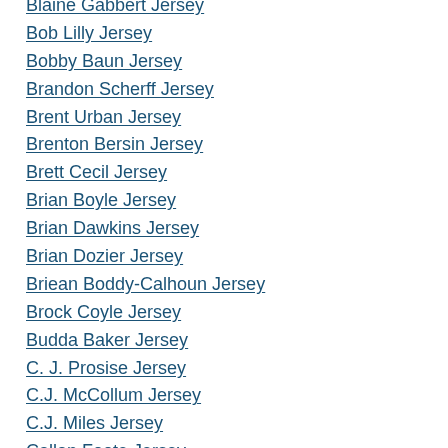Blaine Gabbert Jersey
Bob Lilly Jersey
Bobby Baun Jersey
Brandon Scherff Jersey
Brent Urban Jersey
Brenton Bersin Jersey
Brett Cecil Jersey
Brian Boyle Jersey
Brian Dawkins Jersey
Brian Dozier Jersey
Briean Boddy-Calhoun Jersey
Brock Coyle Jersey
Budda Baker Jersey
C. J. Prosise Jersey
C.J. McCollum Jersey
C.J. Miles Jersey
Callan Foote Jersey
Calvin Pickard Jersey
Carey Price Jersey